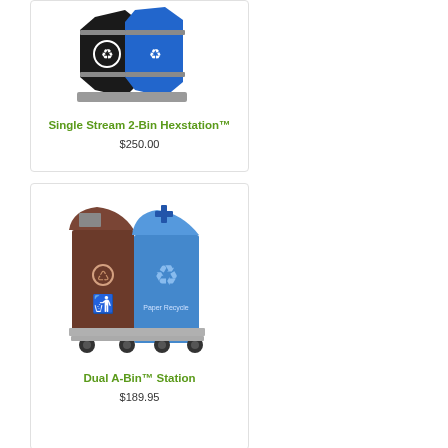[Figure (photo): Single Stream 2-Bin Hexstation product photo showing black and blue hexagonal recycling bins]
Single Stream 2-Bin Hexstation™
$250.00
[Figure (photo): Dual A-Bin Station product photo showing brown and blue side-by-side waste and recycling bins on wheels]
Dual A-Bin™ Station
$189.95